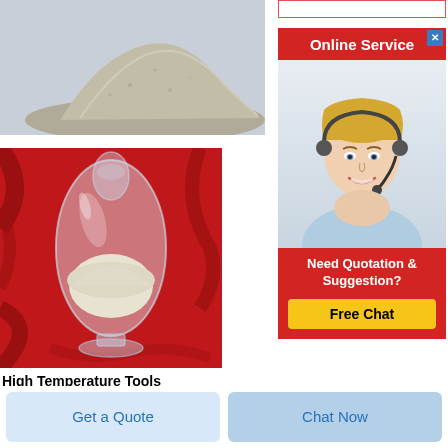[Figure (photo): Gray/beige powdery material (refractory powder) photographed on a light background]
[Figure (photo): A glass vase-shaped container holding white/light refractory powder, placed on a red cloth background]
High Temperature Tools Refractory
1 Thick Hard Fire Brick Size 9 x 4 5 x 1
[Figure (screenshot): Online Service widget with red header, female customer service agent with headset, 'Need Quotation & Suggestion?' text, and 'Free Chat' button]
Get a Quote
Chat Now